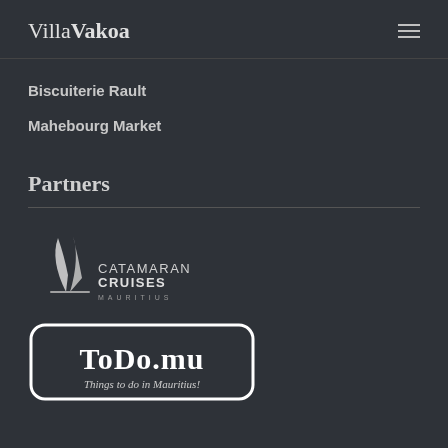VillaVakoa
Biscuiterie Rault
Mahebourg Market
Partners
[Figure (logo): Catamaran Cruises Mauritius logo — sail icon with text CATAMARAN CRUISES MAURITIUS]
[Figure (logo): Todo.mu logo — rounded rectangle border with text 'TODO.MU' and tagline 'Things to do in Mauritius!']